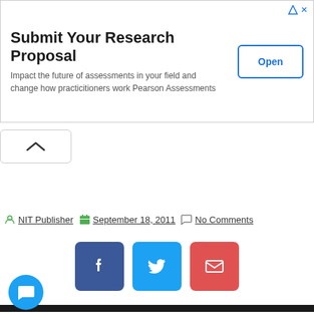[Figure (other): Advertisement banner: 'Submit Your Research Proposal' with Open button, from Pearson Assessments]
NIT Publisher   September 18, 2011   No Comments
[Figure (other): Social share buttons: Facebook, Twitter, Email]
MASON CITY ñ Outdoor and historical interests will have the chance to shape the future of Iowa's premiere